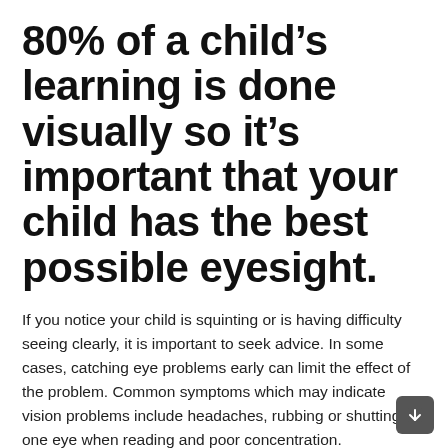80% of a child's learning is done visually so it's important that your child has the best possible eyesight.
If you notice your child is squinting or is having difficulty seeing clearly, it is important to seek advice. In some cases, catching eye problems early can limit the effect of the problem. Common symptoms which may indicate vision problems include headaches, rubbing or shutting one eye when reading and poor concentration.
Glasses are prescribed for children to correct focusing errors and improve vision, to prevent and treat amblyopia (lazy eye)